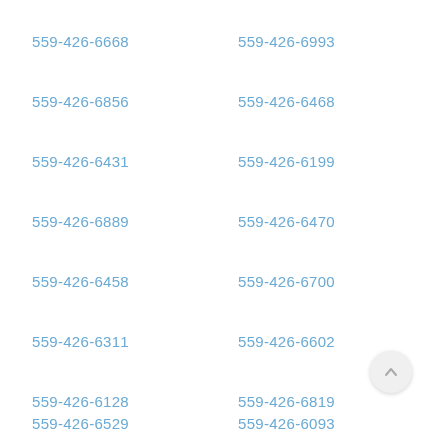559-426-6668
559-426-6993
559-426-6856
559-426-6468
559-426-6431
559-426-6199
559-426-6889
559-426-6470
559-426-6458
559-426-6700
559-426-6311
559-426-6602
559-426-6128
559-426-6819
559-426-6529
559-426-6093
559-426-6747
559-426-6730